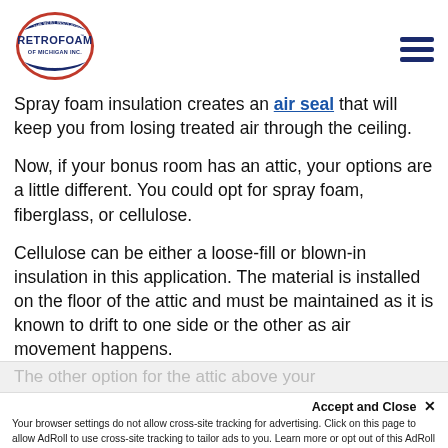RetroFoam of Michigan Inc. — navigation header with logo and hamburger menu
Spray foam insulation creates an air seal that will keep you from losing treated air through the ceiling.
Now, if your bonus room has an attic, your options are a little different. You could opt for spray foam, fiberglass, or cellulose.
Cellulose can be either a loose-fill or blown-in insulation in this application. The material is installed on the floor of the attic and must be maintained as it is known to drift to one side or the other as air movement happens.
The other option for the attic above your
Accept and Close ×
Your browser settings do not allow cross-site tracking for advertising. Click on this page to allow AdRoll to use cross-site tracking to tailor ads to you. Learn more or opt out of this AdRoll tracking by clicking here. This message only appears once.